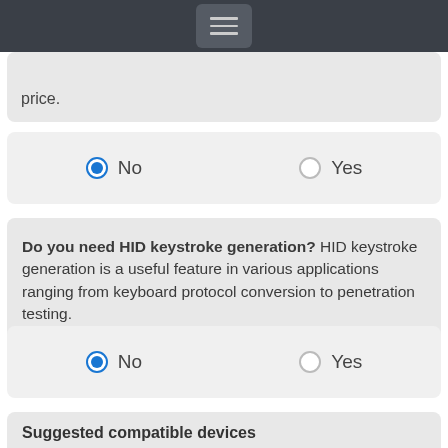price.
No  Yes
Do you need HID keystroke generation? HID keystroke generation is a useful feature in various applications ranging from keyboard protocol conversion to penetration testing.
No  Yes
Suggested compatible devices